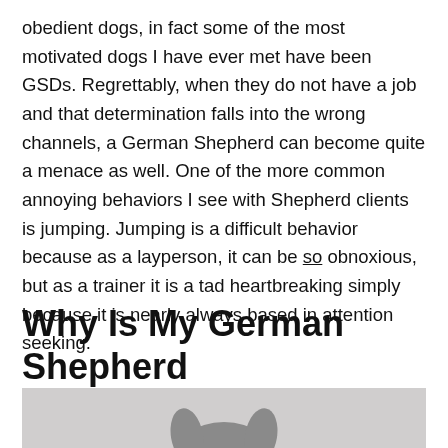obedient dogs, in fact some of the most motivated dogs I have ever met have been GSDs. Regrettably, when they do not have a job and that determination falls into the wrong channels, a German Shepherd can become quite a menace as well. One of the more common annoying behaviors I see with Shepherd clients is jumping. Jumping is a difficult behavior because as a layperson, it can be so obnoxious, but as a trainer it is a tad heartbreaking simply because it is nearly always based in attention seeking.
Why Is My German Shepherd Jumping
[Figure (photo): Partial image of a German Shepherd dog, shown from top of head, on a gray background. Only the top of the dog's head and ears are visible at the bottom of the frame.]